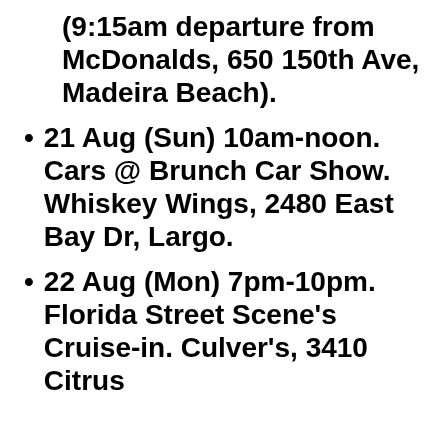(9:15am departure from McDonalds, 650 150th Ave, Madeira Beach).
21 Aug (Sun) 10am-noon. Cars @ Brunch Car Show. Whiskey Wings, 2480 East Bay Dr, Largo.
22 Aug (Mon) 7pm-10pm. Florida Street Scene's Cruise-in. Culver's, 3410 Citrus